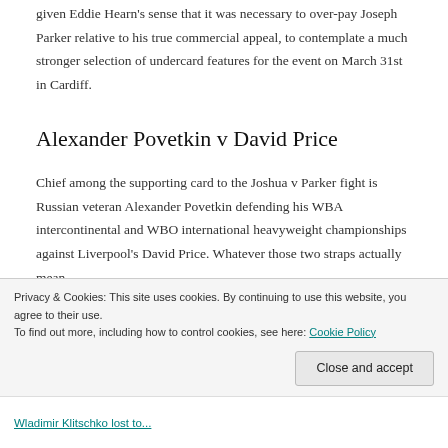given Eddie Hearn's sense that it was necessary to over-pay Joseph Parker relative to his true commercial appeal, to contemplate a much stronger selection of undercard features for the event on March 31st in Cardiff.
Alexander Povetkin v David Price
Chief among the supporting card to the Joshua v Parker fight is Russian veteran Alexander Povetkin defending his WBA intercontinental and WBO international heavyweight championships against Liverpool's David Price. Whatever those two straps actually mean.
Although a former Commonwealth Games Gold medallist
Privacy & Cookies: This site uses cookies. By continuing to use this website, you agree to their use.
To find out more, including how to control cookies, see here: Cookie Policy
Close and accept
Wladimir Klitschko lost to...